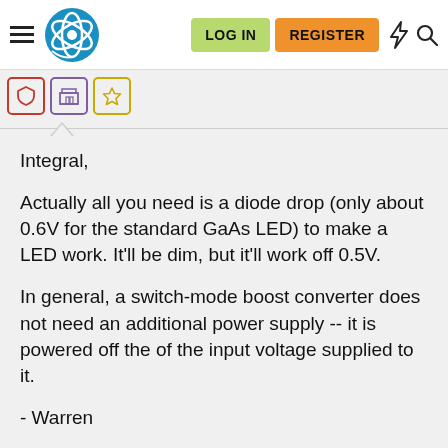LOG IN | REGISTER
Integral,
Actually all you need is a diode drop (only about 0.6V for the standard GaAs LED) to make a LED work. It'll be dim, but it'll work off 0.5V.
In general, a switch-mode boost converter does not need an additional power supply -- it is powered off the of the input voltage supplied to it.
- Warren